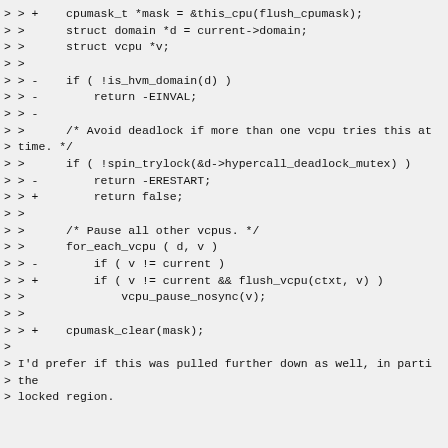Code diff showing changes to flush_vcpu logic including cpumask_t, domain struct, vcpu struct, deadlock avoidance, vcpu pause logic, and cpumask_clear. Followed by a reviewer comment about pulling code further down into the locked region.